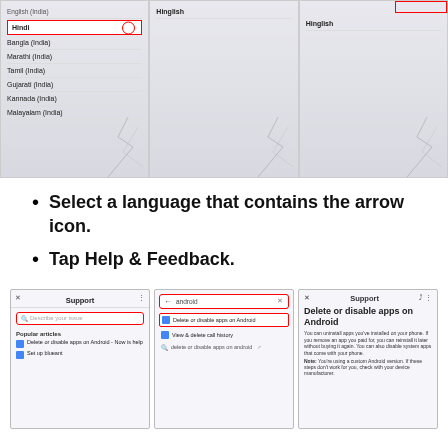[Figure (screenshot): Three phone screenshots showing a language selection list. First screenshot highlights 'Hindi' with a red rectangle and shows a red circle arrow icon. Languages listed: English (India), Hindi, Bangla (India), Marathi (India), Tamil (India), Gujarati (India), Kannada (India), Malayalam (India). Second and third screenshots show 'Hinglish' at the top with the same cracked screen background.]
Select a language that contains the arrow icon.
Tap Help & Feedback.
[Figure (screenshot): Three phone screenshots showing Support screens. First shows Support page with search box 'Describe your issue' and Popular articles including 'Delete or disable apps on Android - Now is help' and 'Set up blueant'. Second shows search results for 'android' with 'Delete or disable apps on Android' highlighted in red. Third shows the full article page for 'Delete or disable apps on Android'.]